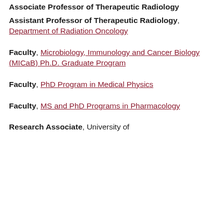Associate Professor of Therapeutic Radiology
Assistant Professor of Therapeutic Radiology, Department of Radiation Oncology
Faculty, Microbiology, Immunology and Cancer Biology (MICaB) Ph.D. Graduate Program
Faculty, PhD Program in Medical Physics
Faculty, MS and PhD Programs in Pharmacology
Research Associate, University of